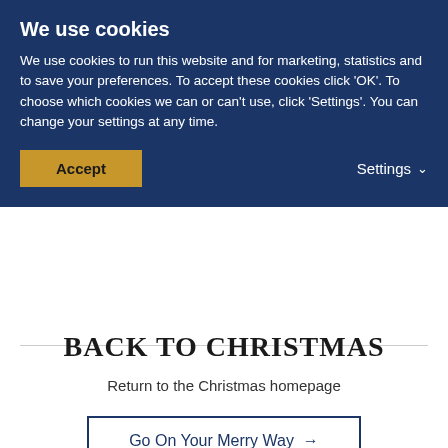We use cookies
We use cookies to run this website and for marketing, statistics and to save your preferences. To accept these cookies click 'OK'. To choose which cookies we can or can't use, click 'Settings'. You can change your settings at any time.
Accept
Settings
BACK TO CHRISTMAS
Return to the Christmas homepage
Go On Your Merry Way →